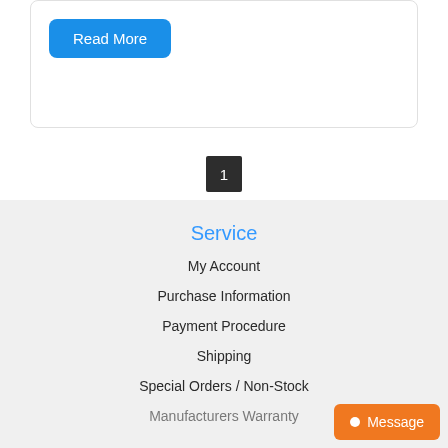Read More
1
Service
My Account
Purchase Information
Payment Procedure
Shipping
Special Orders / Non-Stock
Manufacturers Warranty
Message